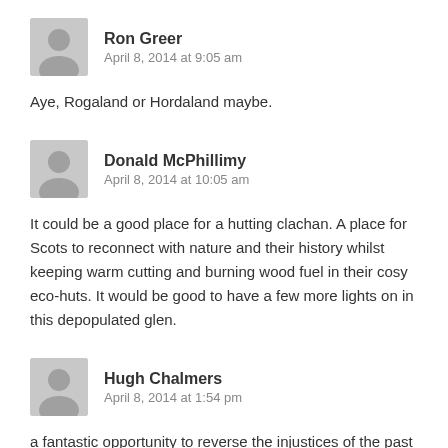Ron Greer
April 8, 2014 at 9:05 am
Aye, Rogaland or Hordaland maybe.
Donald McPhillimy
April 8, 2014 at 10:05 am
It could be a good place for a hutting clachan. A place for Scots to reconnect with nature and their history whilst keeping warm cutting and burning wood fuel in their cosy eco-huts. It would be good to have a few more lights on in this depopulated glen.
Hugh Chalmers
April 8, 2014 at 1:54 pm
a fantastic opportunity to reverse the injustices of the past – people were cleared to the coast, and there are plenty folk in the crofts on the north coast who would love to be involved, as well